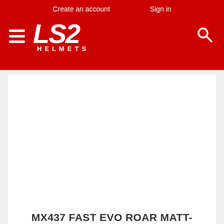Create an account   Sign in
[Figure (logo): LS2 Helmets logo in white on red background, with hamburger menu icon on left and search icon on right]
MX437 FAST EVO ROAR MATT-GLOSS BLACK GREEN
₹ 8,100.00
[Figure (photo): Second product card partially visible at the bottom of the page, white background, no visible content]